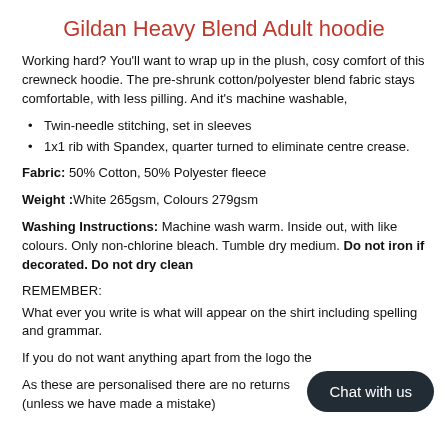Gildan Heavy Blend Adult hoodie
Working hard? You'll want to wrap up in the plush, cosy comfort of this crewneck hoodie. The pre-shrunk cotton/polyester blend fabric stays comfortable, with less pilling. And it's machine washable,
Twin-needle stitching, set in sleeves
1x1 rib with Spandex, quarter turned to eliminate centre crease.
Fabric: 50% Cotton, 50% Polyester fleece
Weight :White 265gsm, Colours 279gsm
Washing Instructions: Machine wash warm. Inside out, with like colours. Only non-chlorine bleach. Tumble dry medium. Do not iron if decorated. Do not dry clean
REMEMBER:
What ever you write is what will appear on the shirt including spelling and grammar.
If you do not want anything apart from the logo the
As these are personalised there are no returns (unless we have made a mistake)